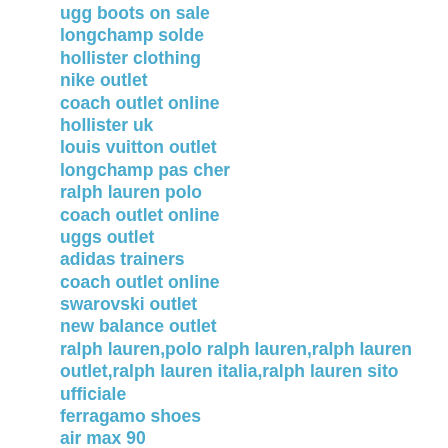ugg boots on sale
longchamp solde
hollister clothing
nike outlet
coach outlet online
hollister uk
louis vuitton outlet
longchamp pas cher
ralph lauren polo
coach outlet online
uggs outlet
adidas trainers
coach outlet online
swarovski outlet
new balance outlet
ralph lauren,polo ralph lauren,ralph lauren outlet,ralph lauren italia,ralph lauren sito ufficiale
ferragamo shoes
air max 90
puma outlet
ray-ban sunglasses
coach outlet
nike roshe run